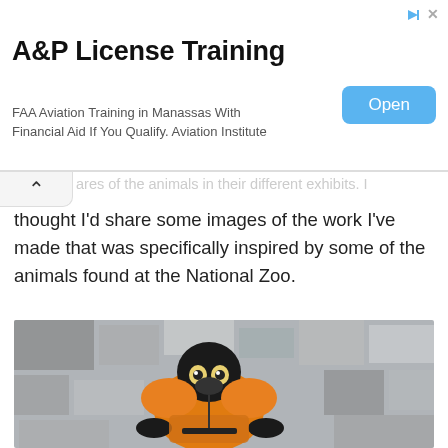[Figure (screenshot): Advertisement banner for A&P License Training. Shows title 'A&P License Training', body text 'FAA Aviation Training in Manassas With Financial Aid If You Qualify. Aviation Institute', a blue 'Open' button, and a close/play arrow icon.]
areas of the animals in their different exhibits. I thought I'd share some images of the work I've made that was specifically inspired by some of the animals found at the National Zoo.
[Figure (photo): Artwork photo showing a stylized monkey/primate figure wearing an orange vest/jacket, with a dark face featuring yellow eyes, set against a collage background of grey and white photographic fragments.]